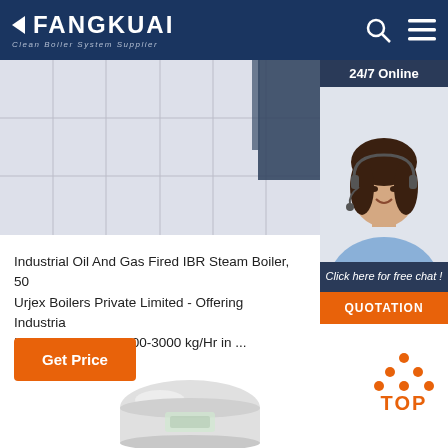FANGKUAI - Clean Boiler System Supplier
[Figure (photo): Hero image showing tiled floor and dark panel background]
[Figure (photo): 24/7 Online customer service agent with headset smiling]
Industrial Oil And Gas Fired IBR Steam Boiler, 50... Urjex Boilers Private Limited - Offering Industrial IBR Steam Boiler, 500-3000 kg/Hr in ...
Get Price
Click here for free chat !
QUOTATION
[Figure (illustration): TOP back-to-top button with orange dots above text]
[Figure (photo): Industrial steam boiler product image at bottom of page]